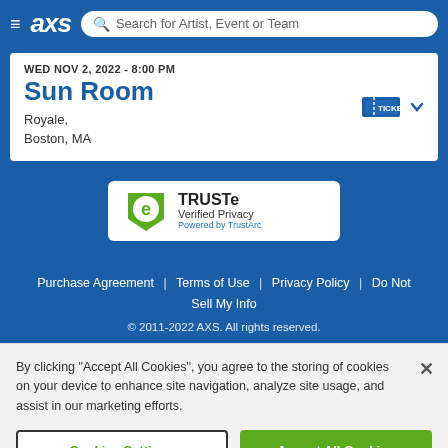AXS — Search Artist, Event or Team
Sun Room
WED NOV 2, 2022 - 8:00 PM
Royale,
Boston, MA
[Figure (logo): TRUSTe Verified Privacy badge — Powered by TrustArc]
Purchase Agreement | Terms of Use | Privacy Policy | Do Not Sell My Info
© 2011-2022 AXS. All rights reserved.
By clicking "Accept All Cookies", you agree to the storing of cookies on your device to enhance site navigation, analyze site usage, and assist in our marketing efforts.
Cookies Settings  Accept All Cookies